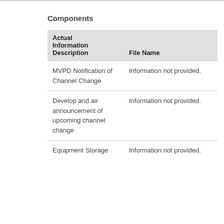Components
| Actual Information Description | File Name |
| --- | --- |
| MVPD Notification of Channel Change | Information not provided. |
| Develop and air announcement of upcoming channel change | Information not provided. |
| Equipment Storage | Information not provided. |